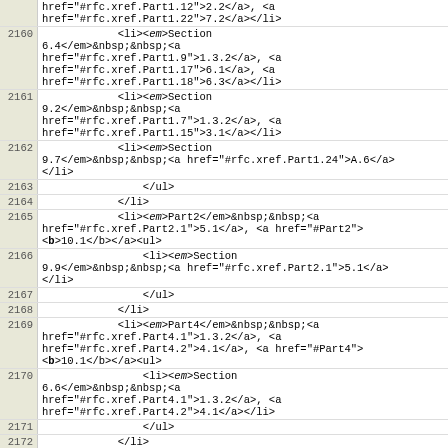href="#rfc.xref.Part1.12">2.2</a>, <a href="#rfc.xref.Part1.22">7.2</a></li>
2160    <li><em>Section 6.4</em>&nbsp;&nbsp;<a href="#rfc.xref.Part1.9">1.3.2</a>, <a href="#rfc.xref.Part1.17">6.1</a>, <a href="#rfc.xref.Part1.18">6.3</a></li>
2161    <li><em>Section 9.2</em>&nbsp;&nbsp;<a href="#rfc.xref.Part1.7">1.3.2</a>, <a href="#rfc.xref.Part1.15">3.1</a></li>
2162    <li><em>Section 9.7</em>&nbsp;&nbsp;<a href="#rfc.xref.Part1.24">A.6</a></li>
2163    </ul>
2164    </li>
2165    <li><em>Part2</em>&nbsp;&nbsp;<a href="#rfc.xref.Part2.1">5.1</a>, <a href="#Part2"><b>10.1</b></a><ul>
2166    <li><em>Section 9.9</em>&nbsp;&nbsp;<a href="#rfc.xref.Part2.1">5.1</a></li>
2167    </ul>
2168    </li>
2169    <li><em>Part4</em>&nbsp;&nbsp;<a href="#rfc.xref.Part4.1">1.3.2</a>, <a href="#rfc.xref.Part4.2">4.1</a>, <a href="#Part4"><b>10.1</b></a><ul>
2170    <li><em>Section 6.6</em>&nbsp;&nbsp;<a href="#rfc.xref.Part4.1">1.3.2</a>, <a href="#rfc.xref.Part4.2">4.1</a></li>
2171    </ul>
2172    </li>
2173    <li><em>Part5</em>&nbsp;&nbsp;<a